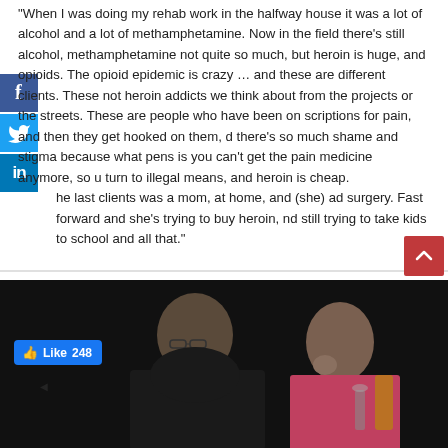“When I was doing my rehab work in the halfway house it was a lot of alcohol and a lot of methamphetamine. Now in the field there’s still alcohol, methamphetamine not quite so much, but heroin is huge, and opioids. The opioid epidemic is crazy … and these are different clients. These not heroin addicts we think about from the projects or the streets. These are people who have been on scriptions for pain, and then they get hooked on them, d there’s so much shame and stigma because what pens is you can’t get the pain medicine anymore, so u turn to illegal means, and heroin is cheap. he last clients was a mom, at home, and (she) ad surgery. Fast forward and she’s trying to buy heroin, nd still trying to take kids to school and all that.”
[Figure (photo): Two women photographed in dark studio setting. One woman on the left wearing glasses and black top, facing camera. Second woman on the right in a pink top, head slightly bowed with hand near face, with a glass and bottle visible.]